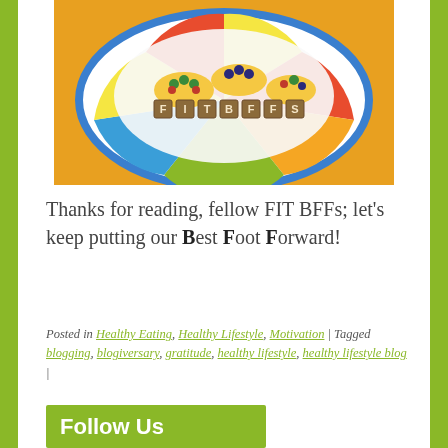[Figure (photo): Photo of small fruit tarts topped with fresh berries and grapes arranged on a colorful children's alphabet plate, with Scrabble tiles spelling 'FIT BFFs' in the center.]
Thanks for reading, fellow FIT BFFs; let's keep putting our Best Foot Forward!
Posted in Healthy Eating, Healthy Lifestyle, Motivation | Tagged blogging, blogiversary, gratitude, healthy lifestyle, healthy lifestyle blog |
Follow Us